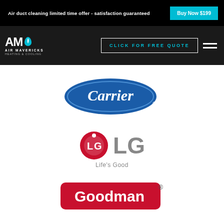Air duct cleaning limited time offer - satisfaction guaranteed
Buy Now $199
[Figure (logo): Air Mavericks Heating & Cooling logo - AM with leaf icon]
CLICK FOR FREE QUOTE
[Figure (logo): Carrier HVAC brand logo - blue oval with white Carrier text]
[Figure (logo): LG Life's Good brand logo - red circle LG icon with gray LG text and Life's Good tagline]
[Figure (logo): Goodman HVAC brand logo - red rounded rectangle with white Goodman text]